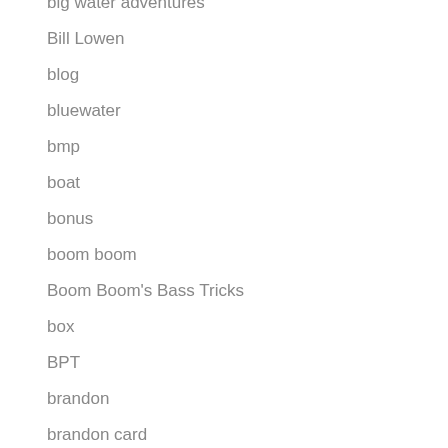big water adventures
Bill Lowen
blog
bluewater
bmp
boat
bonus
boom boom
Boom Boom's Bass Tricks
box
BPT
brandon
brandon card